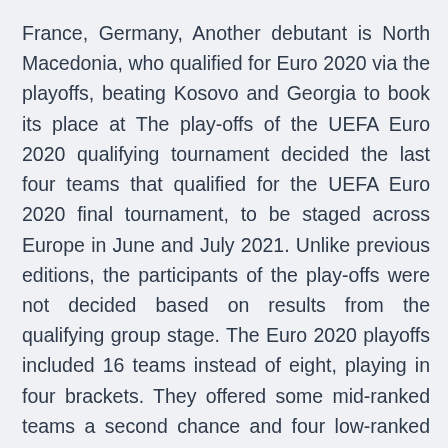France, Germany, Another debutant is North Macedonia, who qualified for Euro 2020 via the playoffs, beating Kosovo and Georgia to book its place at The play-offs of the UEFA Euro 2020 qualifying tournament decided the last four teams that qualified for the UEFA Euro 2020 final tournament, to be staged across Europe in June and July 2021. Unlike previous editions, the participants of the play-offs were not decided based on results from the qualifying group stage. The Euro 2020 playoffs included 16 teams instead of eight, playing in four brackets. They offered some mid-ranked teams a second chance and four low-ranked nations their best-ever shot of playing But for the Euro 2020 finals, this was based purely on a nation's record in qualifying.